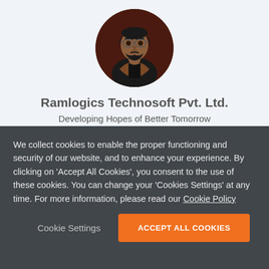[Figure (photo): Circular profile photo of a man with glasses and a beard, wearing a dark shirt and brown jacket, against a dark reddish background.]
Ramlogics Technosoft Pvt. Ltd.
Developing Hopes of Better Tomorrow
We collect cookies to enable the proper functioning and security of our website, and to enhance your experience. By clicking on 'Accept All Cookies', you consent to the use of these cookies. You can change your 'Cookies Settings' at any time. For more information, please read our Cookie Policy
Cookie Settings
ACCEPT ALL COOKIES